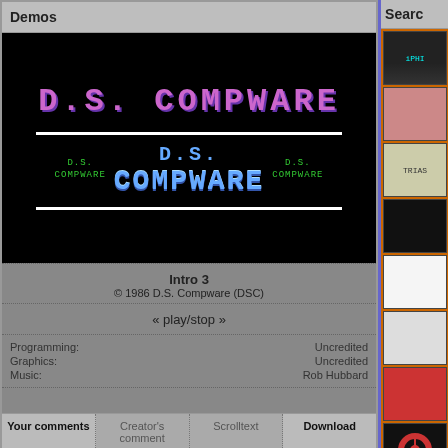Demos
[Figure (screenshot): Retro C64-style demo screen showing 'D.S. COMPWARE' in pink pixel font with white horizontal lines and blue/green 'D.S. COMPWARE' logo in center on black background]
Intro 3
© 1986 D.S. Compware (DSC)
« play/stop »
Programming: Uncredited
Graphics: Uncredited
Music: Rob Hubbard
Your comments | Creator's comment | Scrolltext | Download
Searc
[Figure (screenshot): Right sidebar showing thumbnail previews of various demo screens on orange background]